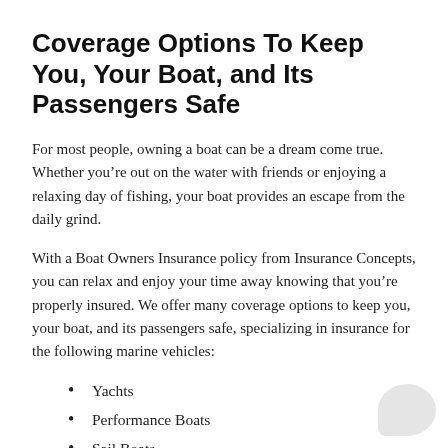Coverage Options To Keep You, Your Boat, and Its Passengers Safe
For most people, owning a boat can be a dream come true. Whether you're out on the water with friends or enjoying a relaxing day of fishing, your boat provides an escape from the daily grind.
With a Boat Owners Insurance policy from Insurance Concepts, you can relax and enjoy your time away knowing that you're properly insured. We offer many coverage options to keep you, your boat, and its passengers safe, specializing in insurance for the following marine vehicles:
Yachts
Performance Boats
Sail Boats
Bass Boats